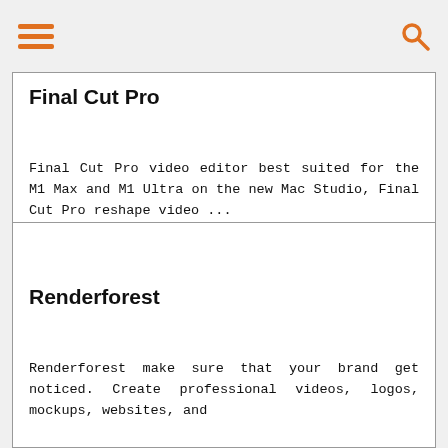[hamburger menu icon] [search icon]
Final Cut Pro
Final Cut Pro video editor best suited for the M1 Max and M1 Ultra on the new Mac Studio, Final Cut Pro reshape video ...
READ MORE +
Renderforest
Renderforest make sure that your brand get noticed. Create professional videos, logos, mockups, websites, and